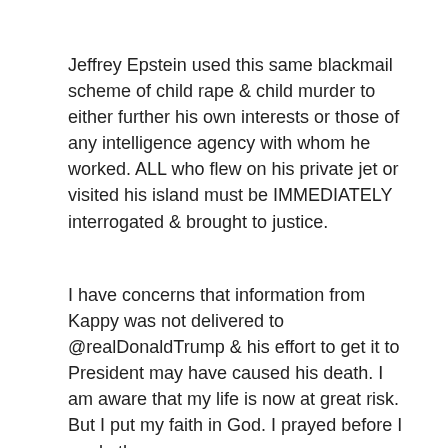Jeffrey Epstein used this same blackmail scheme of child rape & child murder to either further his own interests or those of any intelligence agency with whom he worked. ALL who flew on his private jet or visited his island must be IMMEDIATELY interrogated & brought to justice.
I have concerns that information from Kappy was not delivered to @realDonaldTrump & his effort to get it to President may have caused his death. I am aware that my life is now at great risk. But I put my faith in God. I prayed before I made the